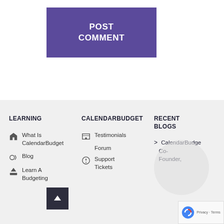POST COMMENT
LEARNING
CALENDARBUDGET
RECENT BLOGS
What Is CalendarBudget
Blog
Learn A Budgeting
Testimonials
Forum
Support Tickets
> CalendarBudge Co- Founder,